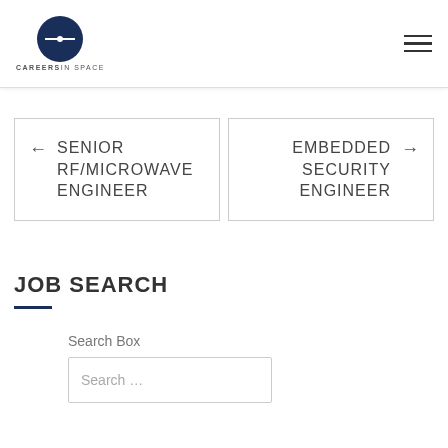CAREERSIN SPACE
← SENIOR RF/MICROWAVE ENGINEER
EMBEDDED SECURITY ENGINEER →
JOB SEARCH
Search Box
Search …